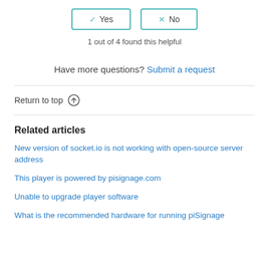1 out of 4 found this helpful
Have more questions? Submit a request
Return to top ↑
Related articles
New version of socket.io is not working with open-source server address
This player is powered by pisignage.com
Unable to upgrade player software
What is the recommended hardware for running piSignage